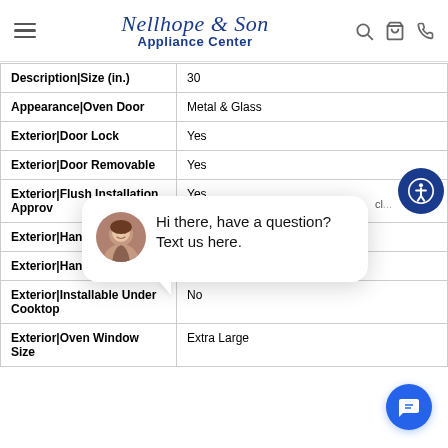Nellhope & Son Appliance Center
| Property | Value |
| --- | --- |
| Description|Size (in.) | 30 |
| Appearance|Oven Door | Metal & Glass |
| Exterior|Door Lock | Yes |
| Exterior|Door Removable | Yes |
| Exterior|Flush Installation Approv | Yes |
| Exterior|Handle Co |  |
| Exterior|Handle Material |  |
| Exterior|Installable Under Cooktop | No |
| Exterior|Oven Window Size | Extra Large |